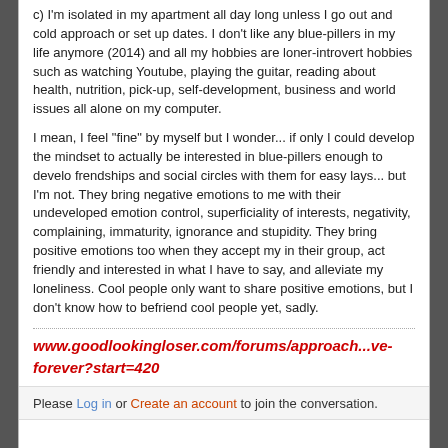c) I'm isolated in my apartment all day long unless I go out and cold approach or set up dates. I don't like any blue-pillers in my life anymore (2014) and all my hobbies are loner-introvert hobbies such as watching Youtube, playing the guitar, reading about health, nutrition, pick-up, self-development, business and world issues all alone on my computer.
I mean, I feel "fine" by myself but I wonder... if only I could develop the mindset to actually be interested in blue-pillers enough to develop frendships and social circles with them for easy lays... but I'm not. They bring negative emotions to me with their undeveloped emotion control, superficiality of interests, negativity, complaining, immaturity, ignorance and stupidity. They bring positive emotions too when they accept my in their group, act friendly and interested in what I have to say, and alleviate my loneliness. Cool people only want to share positive emotions, but I don't know how to befriend cool people yet, sadly.
www.goodlookingloser.com/forums/approach...ve-forever?start=420
Please Log in or Create an account to join the conversation.